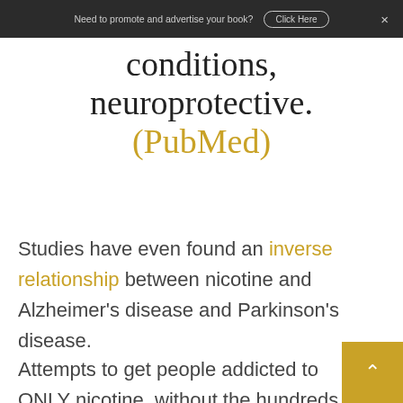Need to promote and advertise your book? Click Here ×
conditions, neuroprotective. (PubMed)
Studies have even found an inverse relationship between nicotine and Alzheimer's disease and Parkinson's disease.
Attempts to get people addicted to ONLY nicotine, without the hundreds of additional substances found in tobacco smoke, have